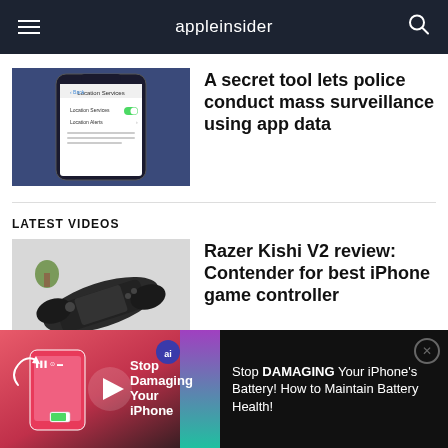appleinsider
[Figure (screenshot): iPhone showing Location Services settings screen with toggle enabled]
A secret tool lets police conduct mass surveillance using app data
LATEST VIDEOS
[Figure (photo): Razer Kishi V2 game controller for iPhone on a white surface]
Razer Kishi V2 review: Contender for best iPhone game controller
[Figure (screenshot): Ad banner: Stop Damaging Your iPhone's Battery! How to Maintain Battery Health!]
Stop DAMAGING Your iPhone's Battery! How to Maintain Battery Health!